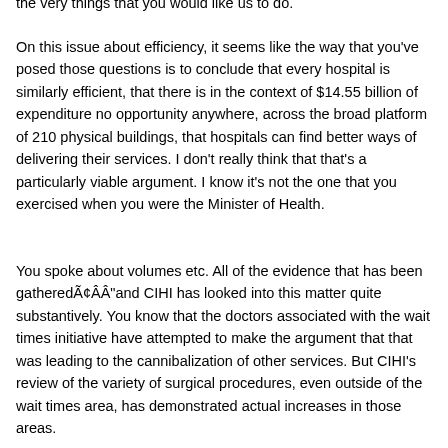the very things that you would like us to do.
On this issue about efficiency, it seems like the way that you've posed those questions is to conclude that every hospital is similarly efficient, that there is in the context of $14.55 billion of expenditure no opportunity anywhere, across the broad platform of 210 physical buildings, that hospitals can find better ways of delivering their services. I don't really think that that's a particularly viable argument. I know it's not the one that you exercised when you were the Minister of Health.
You spoke about volumes etc. All of the evidence that has been gatheredÃ¢ÂÂ"and CIHI has looked into this matter quite substantively. You know that the doctors associated with the wait times initiative have attempted to make the argument that that was leading to the cannibalization of other services. But CIHI's review of the variety of surgical procedures, even outside of the wait times area, has demonstrated actual increases in those areas.